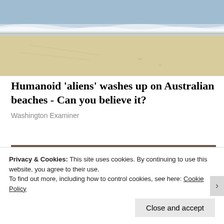[Figure (photo): Beach scene with ocean waves and sandy shore, viewed from above]
Humanoid 'aliens' washes up on Australian beaches - Can you believe it?
Washington Examiner
[Figure (photo): Partially visible image, appears to show wrapped or covered objects]
Privacy & Cookies: This site uses cookies. By continuing to use this website, you agree to their use.
To find out more, including how to control cookies, see here: Cookie Policy
Close and accept